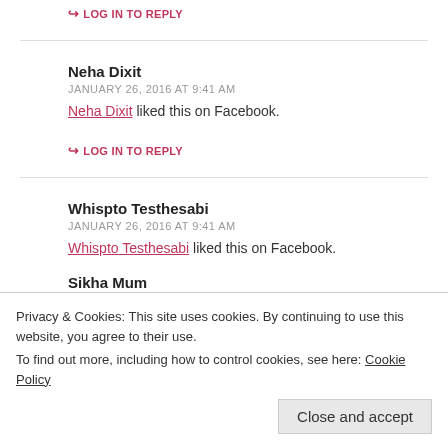↪ LOG IN TO REPLY
Neha Dixit
JANUARY 26, 2016 AT 9:41 AM
Neha Dixit liked this on Facebook.
↪ LOG IN TO REPLY
Whispto Testhesabi
JANUARY 26, 2016 AT 9:41 AM
Whispto Testhesabi liked this on Facebook.
Sikha Mum
JANUARY 26, 2016 AT 9:41 AM
Privacy & Cookies: This site uses cookies. By continuing to use this website, you agree to their use.
To find out more, including how to control cookies, see here: Cookie Policy
Close and accept